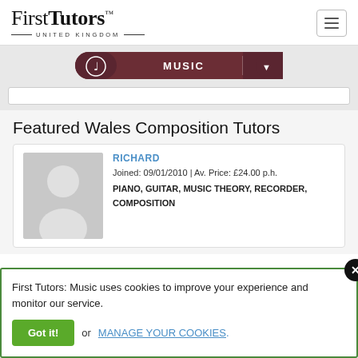[Figure (logo): FirstTutors United Kingdom logo with hamburger menu icon]
[Figure (screenshot): Music navigation pill with musical note icon and dropdown arrow]
Featured Wales Composition Tutors
RICHARD
Joined: 09/01/2010 | Av. Price: £24.00 p.h.
PIANO, GUITAR, MUSIC THEORY, RECORDER, COMPOSITION
First Tutors: Music uses cookies to improve your experience and monitor our service.